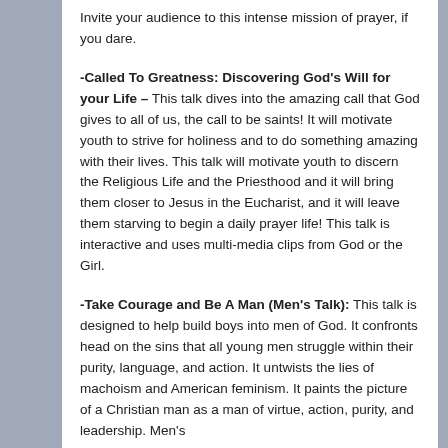Invite your audience to this intense mission of prayer, if you dare.
-Called To Greatness: Discovering God's Will for your Life – This talk dives into the amazing call that God gives to all of us, the call to be saints! It will motivate youth to strive for holiness and to do something amazing with their lives. This talk will motivate youth to discern the Religious Life and the Priesthood and it will bring them closer to Jesus in the Eucharist, and it will leave them starving to begin a daily prayer life! This talk is interactive and uses multi-media clips from God or the Girl.
-Take Courage and Be A Man (Men's Talk): This talk is designed to help build boys into men of God. It confronts head on the sins that all young men struggle within their purity, language, and action. It untwists the lies of machoism and American feminism. It paints the picture of a Christian man as a man of virtue, action, purity, and leadership. Men's